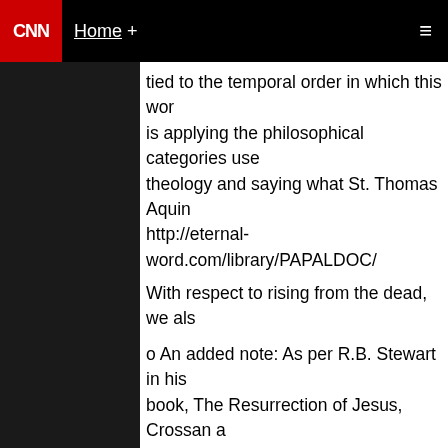CNN | Home +
tied to the temporal order in which this wor is applying the philosophical categories use theology and saying what St. Thomas Aquin http://eternal-word.com/library/PAPALDOC/
With respect to rising from the dead, we als
o An added note: As per R.B. Stewart in his book, The Resurrection of Jesus, Crossan a
o
p.4
o "Reimarus (1774-1778) posits that Jesus b embracing a political position, sought to fo died alone deserted by his disciples. What repentance ended up as a misguided atten political kingdom of God. After Jesus' failur stole his body and declared his resurrectio financial security and ensure themselves so
o p.168. by Ted Peters: